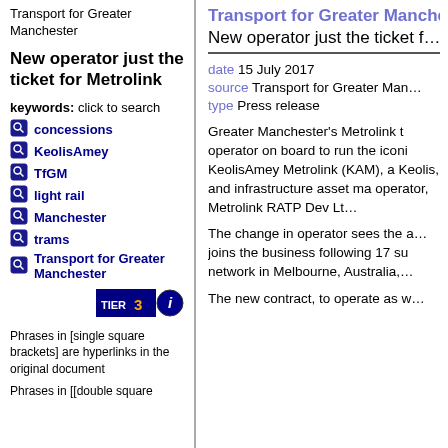Transport for Greater Manchester
New operator just the ticket for Metrolink
keywords: click to search
concessions
KeolisAmey
TfGM
light rail
Manchester
trams
Transport for Greater Manchester
[Figure (other): TIER 3 badge and info icon]
Phrases in [single square brackets] are hyperlinks in the original document
Phrases in [[double square
Transport for Greater Manchester
New operator just the ticket f
date 15 July 2017
source Transport for Greater Man
type Press release
Greater Manchester's Metrolink t operator on board to run the iconi KeolisAmey Metrolink (KAM), a Keolis, and infrastructure asset ma operator, Metrolink RATP Dev Lt
The change in operator sees the ap joins the business following 17 su network in Melbourne, Australia,
The new contract, to operate as w